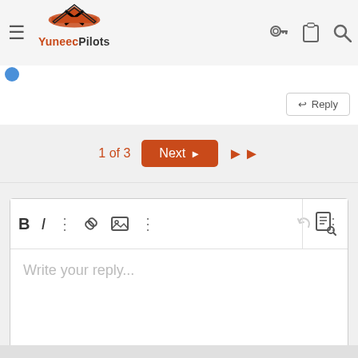[Figure (screenshot): YuneecPilots website header with hamburger menu, logo with wing icon, and icons for key, clipboard, and search]
[Figure (screenshot): Reply button on right side of page]
1 of 3
[Figure (screenshot): Next button and skip-to-end arrows for pagination]
[Figure (screenshot): Text editor toolbar with Bold, Italic, more options, link, image, more options buttons, undo, more options, and file search icon]
Write your reply...
[Figure (screenshot): POST REPLY button]